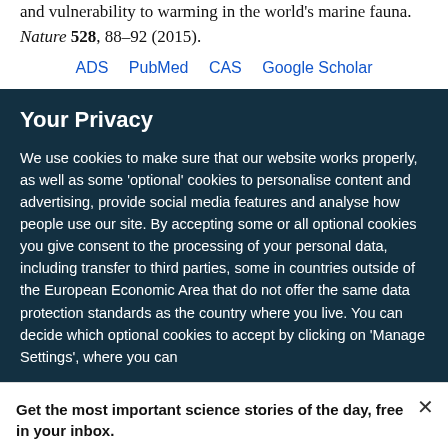and vulnerability to warming in the world's marine fauna. Nature 528, 88–92 (2015).
ADS  PubMed  CAS  Google Scholar
Your Privacy
We use cookies to make sure that our website works properly, as well as some 'optional' cookies to personalise content and advertising, provide social media features and analyse how people use our site. By accepting some or all optional cookies you give consent to the processing of your personal data, including transfer to third parties, some in countries outside of the European Economic Area that do not offer the same data protection standards as the country where you live. You can decide which optional cookies to accept by clicking on 'Manage Settings', where you can
Get the most important science stories of the day, free in your inbox.
Sign up for Nature Briefing